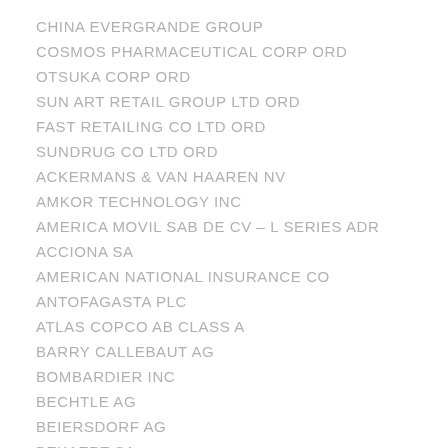CHINA EVERGRANDE GROUP
COSMOS PHARMACEUTICAL CORP ORD
OTSUKA CORP ORD
SUN ART RETAIL GROUP LTD ORD
FAST RETAILING CO LTD ORD
SUNDRUG CO LTD ORD
ACKERMANS & VAN HAAREN NV
AMKOR TECHNOLOGY INC
AMERICA MOVIL SAB DE CV – L SERIES ADR
ACCIONA SA
AMERICAN NATIONAL INSURANCE CO
ANTOFAGASTA PLC
ATLAS COPCO AB CLASS A
BARRY CALLEBAUT AG
BOMBARDIER INC
BECHTLE AG
BEIERSDORF AG
BEKAERT SA